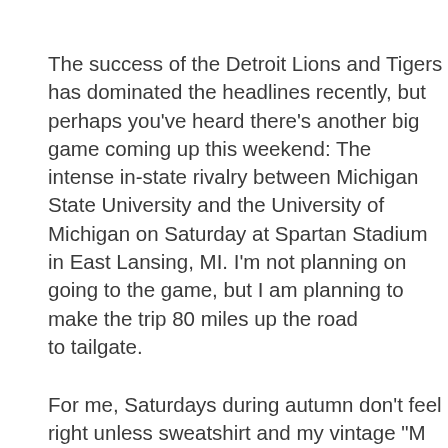The success of the Detroit Lions and Tigers has dominated the headlines recently, but perhaps you've heard there's another big game coming up this weekend: The intense in-state rivalry between Michigan State University and the University of Michigan on Saturday at Spartan Stadium in East Lansing, MI. I'm not planning on going to the game, but I am planning to make the trip 80 miles up the road to tailgate.
For me, Saturdays during autumn don't feel right unless I'm in my sweatshirt and my vintage "M Go Blow" beer cozy (full disclosure: it's green and white). Through the years, I've attended tailgates of all kinds—from Bob Griese's tailgate party for alums of the University of Michigan (complete with a DJ that nobody danced to), to a tailgate my friend Don hosted with just a six pack of beer and a bag of pretzel rods on his back bumper. At tailgates across the state, I've played beer pong, taken shots out of a solo cup, tossed a beanbag into a wooden box with holes in it. I've also at...